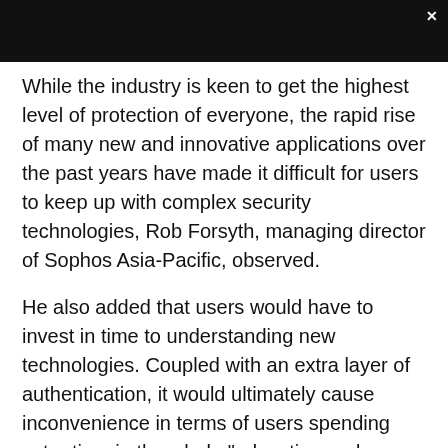While the industry is keen to get the highest level of protection of everyone, the rapid rise of many new and innovative applications over the past years have made it difficult for users to keep up with complex security technologies, Rob Forsyth, managing director of Sophos Asia-Pacific, observed.
He also added that users would have to invest in time to understanding new technologies. Coupled with an extra layer of authentication, it would ultimately cause inconvenience in terms of users spending extra time in the whole "education and authentication process".